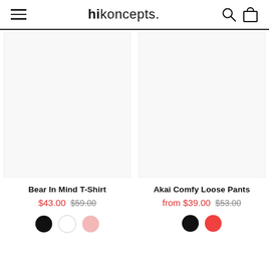hikoncepts.
Bear In Mind T-Shirt
$43.00  $59.00
Akai Comfy Loose Pants
from $39.00  $53.00